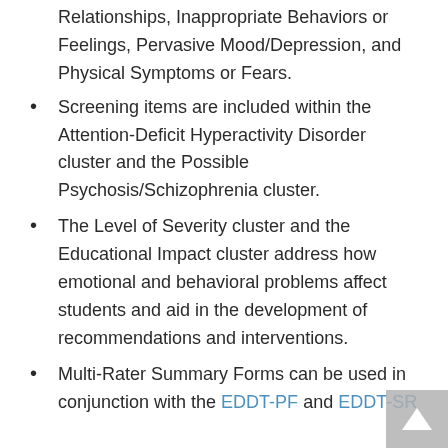Relationships, Inappropriate Behaviors or Feelings, Pervasive Mood/Depression, and Physical Symptoms or Fears.
Screening items are included within the Attention-Deficit Hyperactivity Disorder cluster and the Possible Psychosis/Schizophrenia cluster.
The Level of Severity cluster and the Educational Impact cluster address how emotional and behavioral problems affect students and aid in the development of recommendations and interventions.
Multi-Rater Summary Forms can be used in conjunction with the EDDT-PF and EDDT-SR